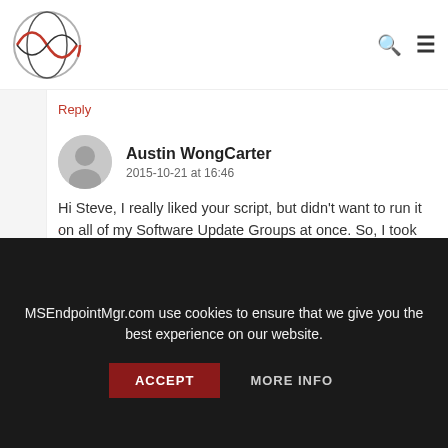MSEndpointMgr.com logo, search icon, menu icon
Reply
Austin WongCarter
2015-10-21 at 16:46

Hi Steve, I really liked your script, but didn't want to run it on all of my Software Update Groups at once. So, I took your old script for just one group and made the same type of console extension using that. Would you like it so you can distribute it?
-Austin
MSEndpointMgr.com use cookies to ensure that we give you the best experience on our website.
ACCEPT    MORE INFO